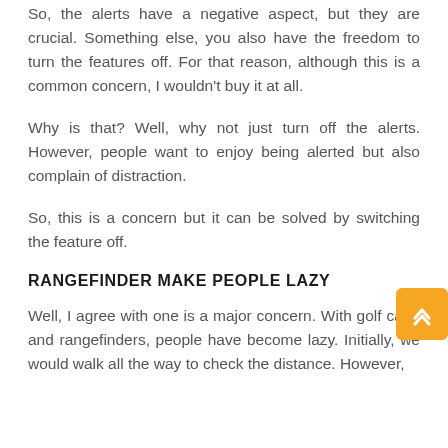So, the alerts have a negative aspect, but they are crucial. Something else, you also have the freedom to turn the features off. For that reason, although this is a common concern, I wouldn't buy it at all.
Why is that? Well, why not just turn off the alerts. However, people want to enjoy being alerted but also complain of distraction.
So, this is a concern but it can be solved by switching the feature off.
RANGEFINDER MAKE PEOPLE LAZY
Well, I agree with one is a major concern. With golf carts and rangefinders, people have become lazy. Initially, we would walk all the way to check the distance. However,